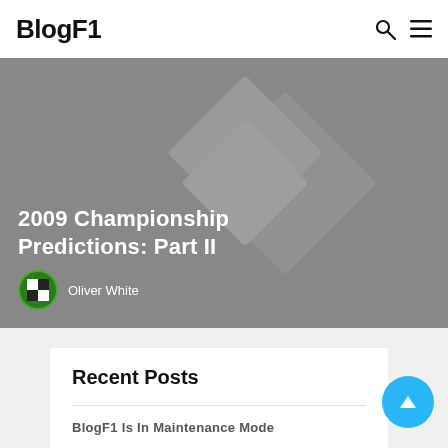BlogF1
[Figure (photo): Hero banner image with grey background and geometric diamond shapes overlay. Title text '2009 Championship Predictions: Part II' displayed in white bold font. Author name 'Oliver White' shown at the bottom with a small avatar icon.]
Recent Posts
BlogF1 Is In Maintenance Mode
Caption Contest: #110